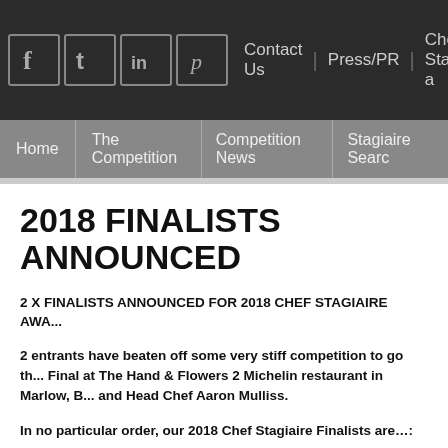Social icons: Facebook, Twitter, LinkedIn, Pinterest | Contact Us | Press/PR | Chef Stagiaire a...
Home | The Competition | Competition News | Stagiaire Searc...
2018 FINALISTS ANNOUNCED
2 X FINALISTS ANNOUNCED FOR 2018 CHEF STAGIAIRE AWA...
2 entrants have beaten off some very stiff competition to go th... Final at The Hand & Flowers 2 Michelin restaurant in Marlow, B... and Head Chef Aaron Mulliss.
In no particular order, our 2018 Chef Stagiaire Finalists are…: